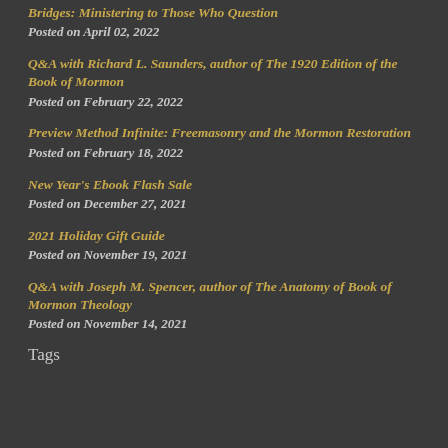Bridges: Ministering to Those Who Question
Posted on April 02, 2022
Q&A with Richard L. Saunders, author of The 1920 Edition of the Book of Mormon
Posted on February 22, 2022
Preview Method Infinite: Freemasonry and the Mormon Restoration
Posted on February 18, 2022
New Year's Ebook Flash Sale
Posted on December 27, 2021
2021 Holiday Gift Guide
Posted on November 19, 2021
Q&A with Joseph M. Spencer, author of The Anatomy of Book of Mormon Theology
Posted on November 14, 2021
Tags